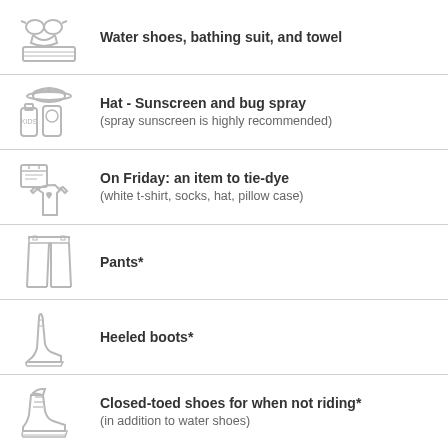Water shoes, bathing suit, and towel
Hat - Sunscreen and bug spray (spray sunscreen is highly recommended)
On Friday: an item to tie-dye (white t-shirt, socks, hat, pillow case)
Pants*
Heeled boots*
Closed-toed shoes for when not riding* (in addition to water shoes)